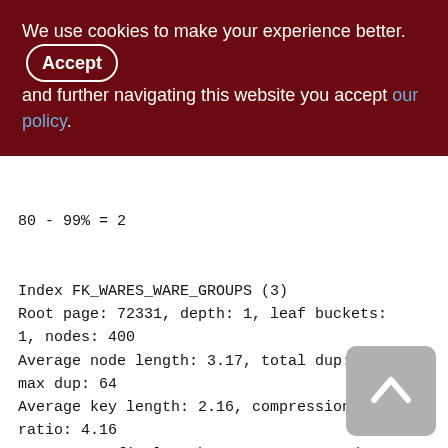We use cookies to make your experience better. By Accepting and further navigating this website you accept our policy.
80 - 99% = 2

Index FK_WARES_WARE_GROUPS (3)
Root page: 72331, depth: 1, leaf buckets: 1, nodes: 400
Average node length: 3.17, total dup: 392, max dup: 64
Average key length: 2.16, compression ratio: 4.16
Average prefix length: 8.86, average data length: 0.14
Clustering factor: 48, ratio: 0.12
Fill distribution: